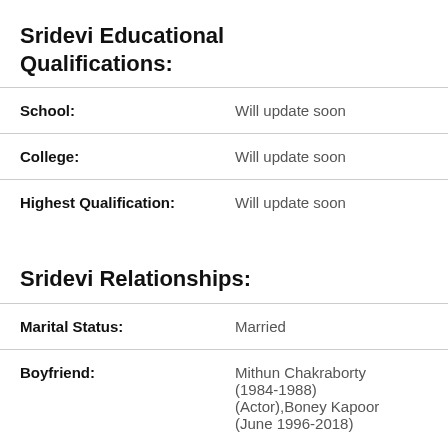Sridevi Educational Qualifications:
| Field | Value |
| --- | --- |
| School: | Will update soon |
| College: | Will update soon |
| Highest Qualification: | Will update soon |
Sridevi Relationships:
| Field | Value |
| --- | --- |
| Marital Status: | Married |
| Boyfriend: | Mithun Chakraborty (1984-1988) (Actor),Boney Kapoor (June 1996-2018) |